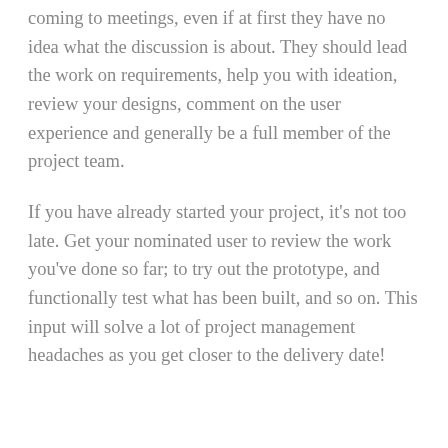coming to meetings, even if at first they have no idea what the discussion is about. They should lead the work on requirements, help you with ideation, review your designs, comment on the user experience and generally be a full member of the project team.
If you have already started your project, it's not too late. Get your nominated user to review the work you've done so far; to try out the prototype, and functionally test what has been built, and so on. This input will solve a lot of project management headaches as you get closer to the delivery date!